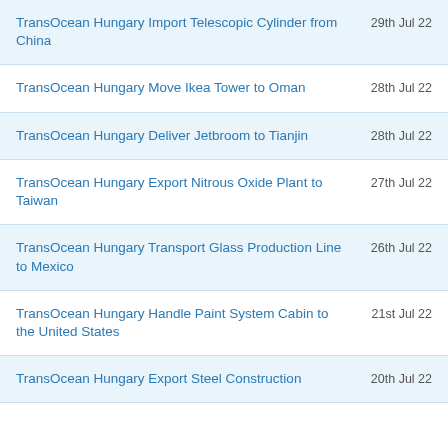TransOcean Hungary Import Telescopic Cylinder from China
TransOcean Hungary Move Ikea Tower to Oman
TransOcean Hungary Deliver Jetbroom to Tianjin
TransOcean Hungary Export Nitrous Oxide Plant to Taiwan
TransOcean Hungary Transport Glass Production Line to Mexico
TransOcean Hungary Handle Paint System Cabin to the United States
TransOcean Hungary Export Steel Construction